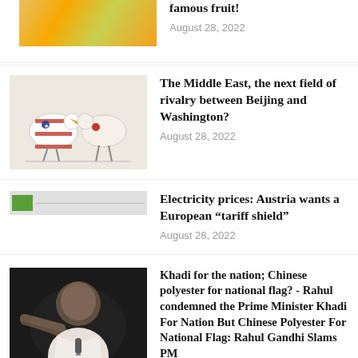[Figure (photo): Partial view of fruits (oranges, bananas, apples) on a table - top portion cropped]
famous fruit!
August 28, 2022
[Figure (illustration): Illustration of two birds/roosters facing each other, one with US flag pattern (red/white stripes) and one plain, on a white/grey background]
The Middle East, the next field of rivalry between Beijing and Washington?
August 28, 2022
[Figure (photo): Small electricity/flag icon placeholder image - partially loaded]
Electricity prices: Austria wants a European “tariff shield”
August 28, 2022
[Figure (photo): Photo of Rahul Gandhi pointing finger at a political rally, dark background]
Khadi for the nation; Chinese polyester for national flag? - Rahul condemned the Prime Minister Khadi For Nation But Chinese Polyester For National Flag: Rahul Gandhi Slams PM
August 28, 2022